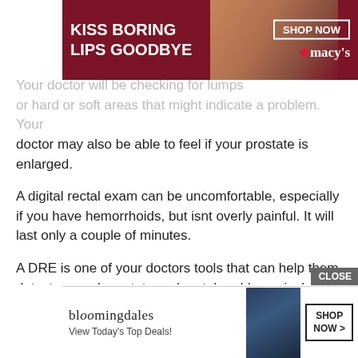[Figure (photo): Macy's advertisement banner: 'KISS BORING LIPS GOODBYE' with a woman's face and red lips, SHOP NOW button and Macy's star logo on dark red background]
Your d[octor will be checking for bumps] or hard or soft areas that might indicate a problem. Your doctor may also be able to feel if your prostate is enlarged.
A digital rectal exam can be uncomfortable, especially if you have hemorrhoids, but isnt overly painful. It will last only a couple of minutes.
A DRE is one of your doctors tools that can help them detect several prostate and rectal problems, including:
BPH
prostate cancer
abnormal masses in your rectum and anus
[Figure (photo): Bloomingdale's advertisement banner: 'View Today's Top Deals!' with a woman in a hat, SHOP NOW button, and CLOSE button overlay]